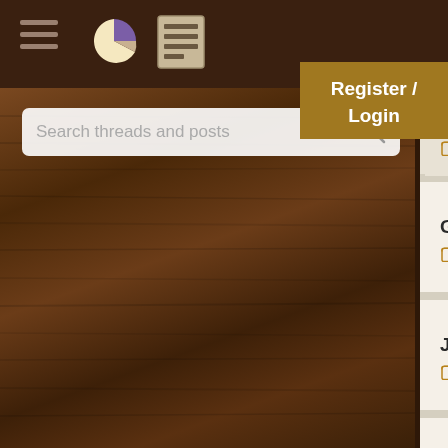[Figure (screenshot): Mobile forum app screenshot showing dark brown wood-grain navigation header with hamburger menu, pie chart icon, and list icon. Search bar reads 'Search threads and posts'. Right side shows forum thread list with items: '@Synchronized compon... 4 replies', 'GWT Pivot table compon... 19 replies', 'JavaBeans Listener nami... 11 replies', 'Certification without exp... 17 replies', 'BEA weblogic 8.1 certific... 4 replies'. A 'Register / Login' button overlay appears top right.]